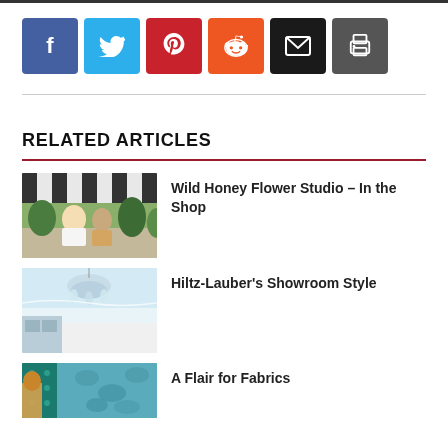[Figure (other): Row of social share buttons: Facebook (blue), Twitter (cyan), Pinterest (red), Reddit (orange), Email (black), Print (dark gray)]
RELATED ARTICLES
Wild Honey Flower Studio – In the Shop
Hiltz-Lauber's Showroom Style
A Flair for Fabrics